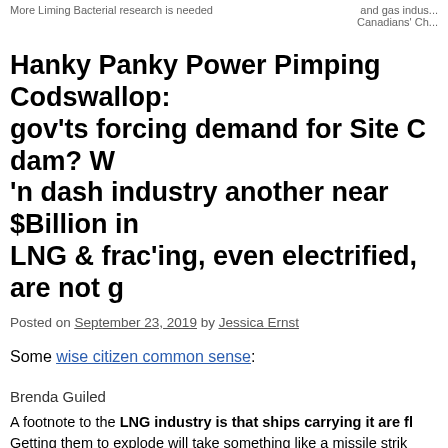More Liming Bacterial research is needed ... and gas indus... Canadians' Ch...
Hanky Panky Power Pimping Codswallop: gov'ts forcing demand for Site C dam? W 'n dash industry another near $Billion in LNG & frac'ing, even electrified, are not g
Posted on September 23, 2019 by Jessica Ernst
Some wise citizen common sense:
Brenda Guiled
A footnote to the LNG industry is that ships carrying it are fl Getting them to explode will take something like a missile strik grounding, ramming, unsuspected stress points, poor constructio it's easy to imagine various scenarios by which such great firew
If B.C. were building bombs, by that name, it se lot more safeguards in place than are put on the